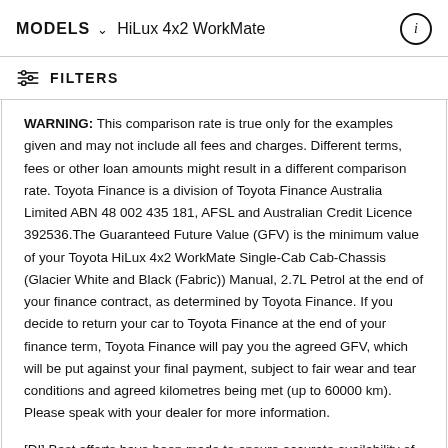MODELS ∨ HiLux 4x2 WorkMate
FILTERS
WARNING: This comparison rate is true only for the examples given and may not include all fees and charges. Different terms, fees or other loan amounts might result in a different comparison rate. Toyota Finance is a division of Toyota Finance Australia Limited ABN 48 002 435 181, AFSL and Australian Credit Licence 392536. The Guaranteed Future Value (GFV) is the minimum value of your Toyota HiLux 4x2 WorkMate Single-Cab Cab-Chassis (Glacier White and Black (Fabric)) Manual, 2.7L Petrol at the end of your finance contract, as determined by Toyota Finance. If you decide to return your car to Toyota Finance at the end of your finance term, Toyota Finance will pay you the agreed GFV, which will be put against your final payment, subject to fair wear and tear conditions and agreed kilometres being met (up to 60000 km). Please speak with your dealer for more information.
[DI] Best efforts have been made to ensure accurate availability of vehicles and customisable vehicle configurations. Please